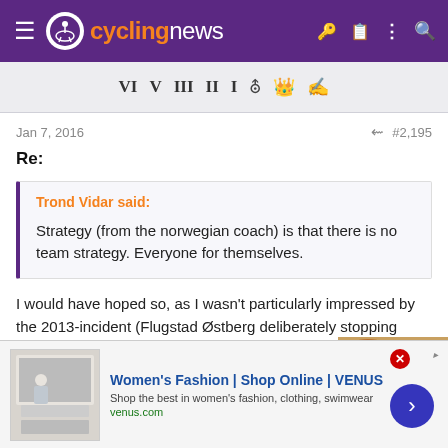cyclingnews
[Figure (screenshot): Toolbar with Roman numeral icons and other tool icons]
Jan 7, 2016  #2,195
Re:
Trond Vidar said:
Strategy (from the norwegian coach) is that there is no team strategy. Everyone for themselves.
I would have hoped so, as I wasn't particularly impressed by the 2013-incident (Flugstad Østberg deliberately stopping before the
[Figure (screenshot): Advertisement banner for Women's Fashion | Shop Online | VENUS. Venus.com. Shop the best in women's fashion, clothing, swimwear.]